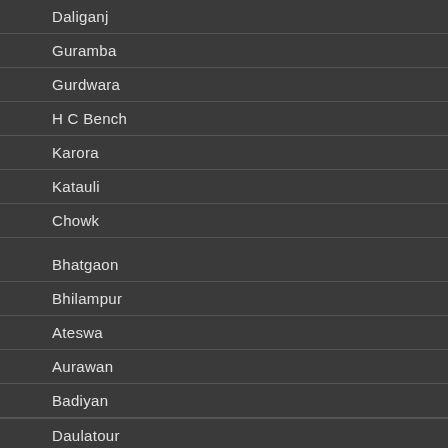Daliganj
Guramba
Gurdwara
H C Bench
Karora
Katauli
Chowk
Bhatgaon
Bhilampur
Ateswa
Aurawan
Badiyan
Daulatour